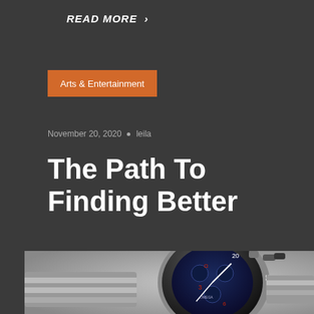READ MORE >
Arts & Entertainment
November 20, 2020  •  leila
The Path To Finding Better
[Figure (photo): Close-up photo of a luxury Omega chronograph wristwatch with blue dial and silver bracelet, partially cropped at the bottom of the page]